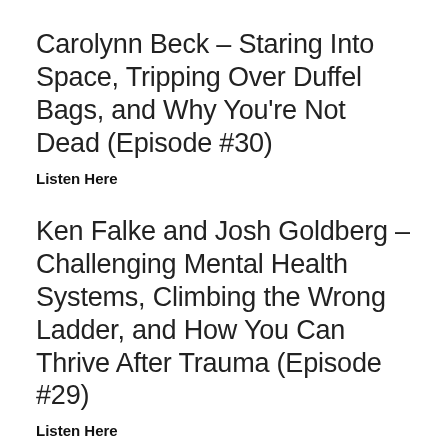Carolynn Beck – Staring Into Space, Tripping Over Duffel Bags, and Why You're Not Dead (Episode #30)
Listen Here
Ken Falke and Josh Goldberg – Challenging Mental Health Systems, Climbing the Wrong Ladder, and How You Can Thrive After Trauma (Episode #29)
Listen Here